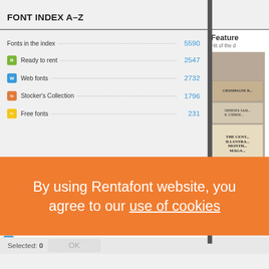European,
FONT INDEX A-Z
| Category | Count |
| --- | --- |
| Fonts in the index | 5590 |
| R Ready to rent | 2547 |
| W Web fonts | 2732 |
| St Stocker's Collection | 1796 |
| Fr Free fonts | 231 |
Feature
Hit of the d
[Figure (photo): Book covers including Champagne, Cyrillic text, and The Century Illustrated Monthly Magazine]
By using Rentafont website, you agree to our use of cookies
mogk
Selected: 0
OK